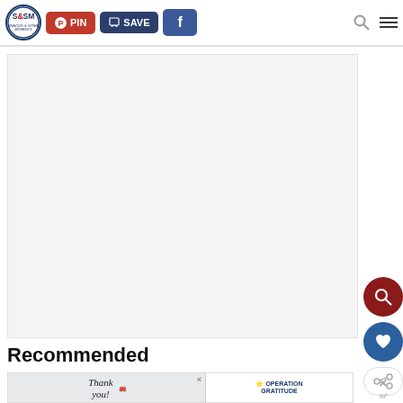S&SM logo, PIN button, SAVE button, Facebook button, search icon, menu icon
[Figure (screenshot): Large white/light gray rectangular content area below the header navigation, representing a webpage article image placeholder]
[Figure (other): Floating dark red circular search button with magnifying glass icon on the right side]
[Figure (other): Floating blue circular heart/favorite button on the right side]
[Figure (other): Floating white circular share button on the right side]
Recommended
[Figure (other): Advertisement banner: Thank you with pencil illustration and firefighters photo on left; Operation Gratitude logo on right with close X button]